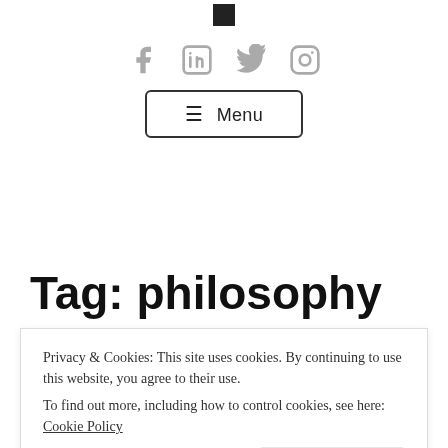[Logo square image at top center]
[Figure (illustration): Four social media icons in gray: Facebook, LinkedIn, Twitter, Instagram]
☰ Menu
Tag: philosophy
Privacy & Cookies: This site uses cookies. By continuing to use this website, you agree to their use.
To find out more, including how to control cookies, see here: Cookie Policy
Close and accept
of Non-violence  by